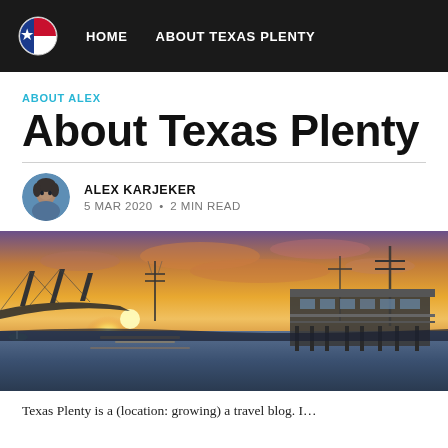HOME  ABOUT TEXAS PLENTY
ABOUT ALEX
About Texas Plenty
ALEX KARJEKER
5 MAR 2020  •  2 MIN READ
[Figure (photo): Waterfront sunset scene with a bridge on the left, power lines, and a stilted building/pier structure on the right, reflecting on calm water. Orange and purple sky at dusk.]
Texas Plenty is a (location: growing) a travel blog. I...